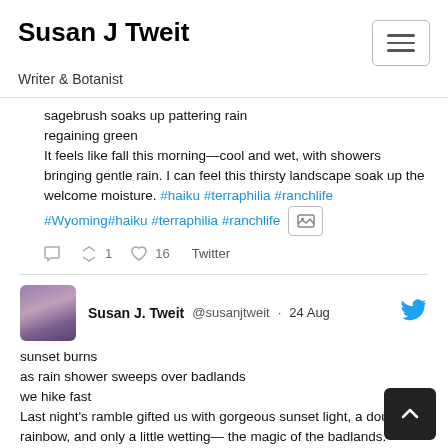Susan J Tweit
Writer & Botanist
sagebrush soaks up pattering rain
regaining green
It feels like fall this morning—cool and wet, with showers bringing gentle rain. I can feel this thirsty landscape soak up the welcome moisture. #haiku #terraphilia #ranchlife
#Wyoming#haiku #terraphilia #ranchlife
1   16   Twitter
Susan J. Tweit @susanjtweit · 24 Aug
sunset burns
as rain shower sweeps over badlands
we hike fast
Last night's ramble gifted us with gorgeous sunset light, a double rainbow, and only a little wetting— the magic of the badlands. #haiku